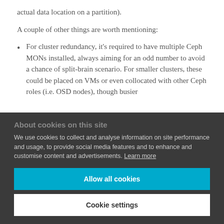actual data location on a partition).
A couple of other things are worth mentioning:
For cluster redundancy, it's required to have multiple Ceph MONs installed, always aiming for an odd number to avoid a chance of split-brain scenario. For smaller clusters, these could be placed on VMs or even collocated with other Ceph roles (i.e. OSD nodes), though busier
About cookies on this site
We use cookies to collect and analyse information on site performance and usage, to provide social media features and to enhance and customise content and advertisements. Learn more
Allow all cookies
Cookie settings